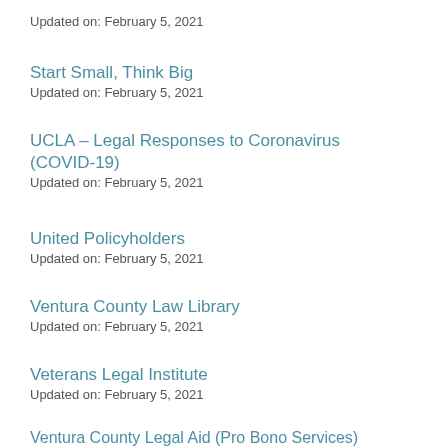Updated on: February 5, 2021
Start Small, Think Big
Updated on: February 5, 2021
UCLA – Legal Responses to Coronavirus (COVID-19)
Updated on: February 5, 2021
United Policyholders
Updated on: February 5, 2021
Ventura County Law Library
Updated on: February 5, 2021
Veterans Legal Institute
Updated on: February 5, 2021
Ventura County Legal Aid (Pro Bono Services)
Updated on: February 5, 2021